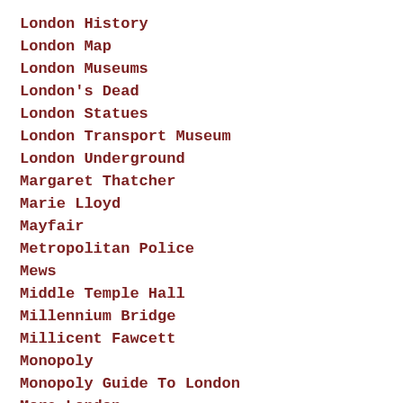London History
London Map
London Museums
London's Dead
London Statues
London Transport Museum
London Underground
Margaret Thatcher
Marie Lloyd
Mayfair
Metropolitan Police
Mews
Middle Temple Hall
Millennium Bridge
Millicent Fawcett
Monopoly
Monopoly Guide To London
More London